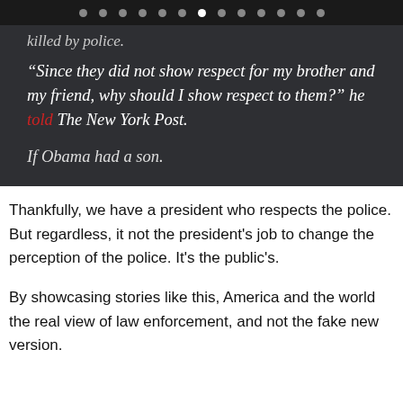● ● ● ● ● ● ● (active) ● ● ● ● ● ●
killed by police.
“Since they did not show respect for my brother and my friend, why should I show respect to them?” he told The New York Post.
If Obama had a son.
Thankfully, we have a president who respects the police. But regardless, it not the president’s job to change the perception of the police. It’s the public’s.
By showcasing stories like this, America and the world the real view of law enforcement, and not the fake new version.